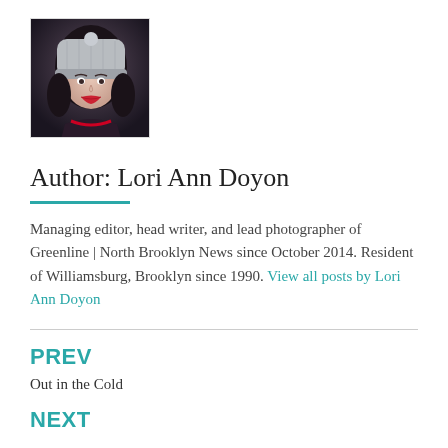[Figure (photo): Portrait photo of Lori Ann Doyon, a woman wearing a knit beanie hat, with long dark hair and red lipstick, against a dark background.]
Author: Lori Ann Doyon
Managing editor, head writer, and lead photographer of Greenline | North Brooklyn News since October 2014. Resident of Williamsburg, Brooklyn since 1990. View all posts by Lori Ann Doyon
PREV
Out in the Cold
NEXT